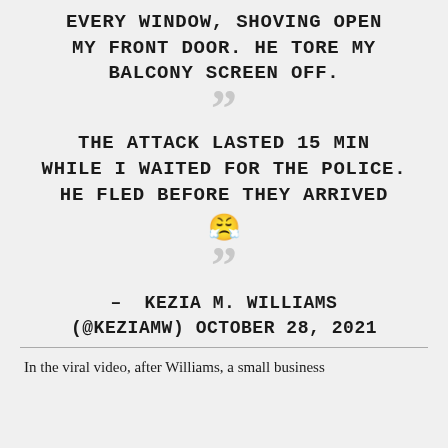EVERY WINDOW, SHOVING OPEN MY FRONT DOOR. HE TORE MY BALCONY SCREEN OFF.
THE ATTACK LASTED 15 MIN WHILE I WAITED FOR THE POLICE. HE FLED BEFORE THEY ARRIVED 😠
– KEZIA M. WILLIAMS (@KEZIAMW) OCTOBER 28, 2021
In the viral video, after Williams, a small business